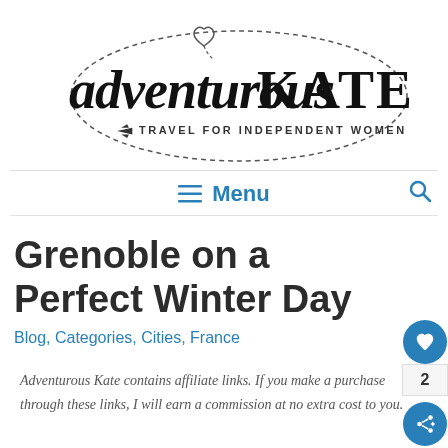[Figure (logo): Adventurous Kate logo — script text 'adventurous' with 'KATE' in serif caps, tagline 'TRAVEL FOR INDEPENDENT WOMEN' with airplane icon, surrounded by a dashed oval border with a heart doodle at top]
Menu
Grenoble on a Perfect Winter Day
Blog, Categories, Cities, France
Adventurous Kate contains affiliate links. If you make a purchase through these links, I will earn a commission at no extra cost to you.